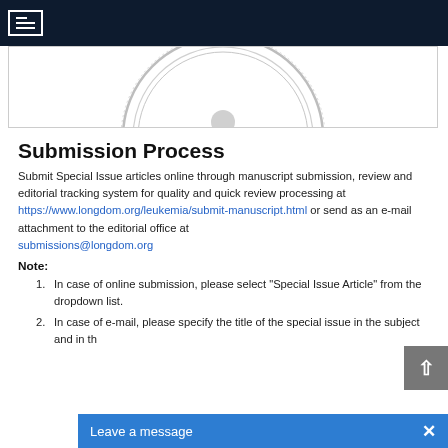Navigation bar with hamburger menu
[Figure (logo): Partial circular seal/logo of a journal, shown cropped at top. Appears to be a university or journal emblem with circular text and central medallion.]
Submission Process
Submit Special Issue articles online through manuscript submission, review and editorial tracking system for quality and quick review processing at https://www.longdom.org/leukemia/submit-manuscript.html or send as an e-mail attachment to the editorial office at submissions@longdom.org
Note:
In case of online submission, please select "Special Issue Article" from the dropdown list.
In case of e-mail, please specify the title of the special issue in the subject and in th...